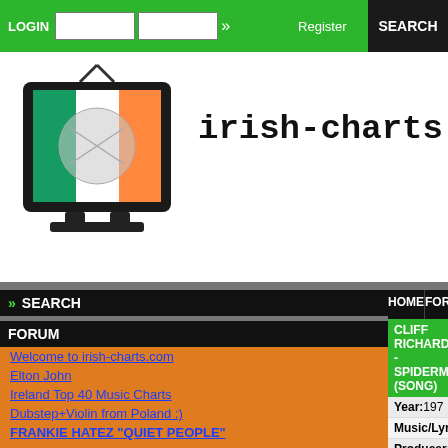LOGIN | Register | SEARCH
[Figure (logo): irish-charts.com logo with Irish flag TV screen icon]
irish-charts.com
SEARCH
FORUM
Welcome to irish-charts.com
Elton John
Ireland Top 40 Music Charts
Dubstep+Violin from Poland :)
FRANKIE HATEZ "QUIET PEOPLE"
HOME | FORUM
CLIFF RICHARD - SPIDERMAN (SONG)
| Field | Value |
| --- | --- |
| Year: | 197 |
| Music/Lyrics: | Terr |
| Producer: | Bru |
AVAILABLE ON FOLLOWING MEDIA
| Version | Length | Title |
| --- | --- | --- |
|  | 3:34 | Every Face Tells A S |
MUSIC DIRECTORY
| Artist | Link |
| --- | --- |
| Cliff Richard | Cliff Richard: Disco |
SONGS BY CLIFF RICHARD
"D" In Love (Cliff Richard & The Shadows)
(It's Gonna Be) Okay (Cliff Richard with The Piano Guys)
(Wouldn't You Know It) Got Myself A Girl
(You Keep Me) Hanging On
21st Century Christmas
50 Tears For Every Kiss